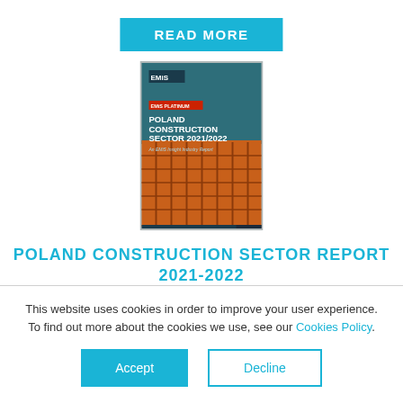[Figure (other): Cyan/teal 'READ MORE' button at the top of the page]
[Figure (illustration): Book cover: Poland Construction Sector 2021/2022, an EMiS Insight Industry Report, showing orange scaffolding on a building]
POLAND CONSTRUCTION SECTOR REPORT 2021-2022
This website uses cookies in order to improve your user experience. To find out more about the cookies we use, see our Cookies Policy.
[Figure (other): Accept button (cyan filled) and Decline button (outlined cyan) for cookie consent]